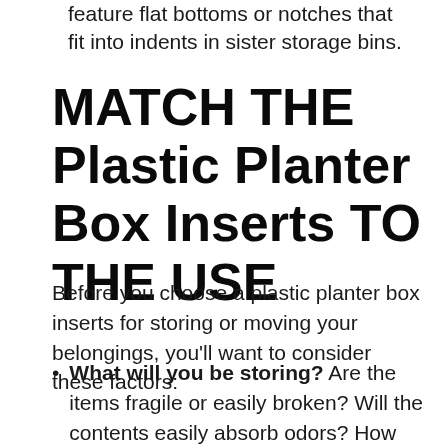feature flat bottoms or notches that fit into indents in sister storage bins.
MATCH THE Plastic Planter Box Inserts TO THE USE
Before you choose a plastic planter box inserts for storing or moving your belongings, you'll want to consider these factors:
What will you be storing? Are the items fragile or easily broken? Will the contents easily absorb odors? How valuable are these items?